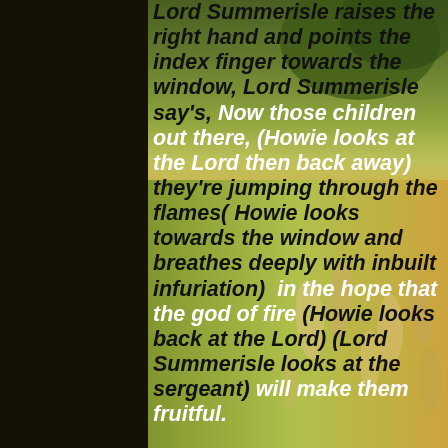[Figure (photo): Background photo of people (children/figures) in a green field/garden setting, slightly blurred, with warm yellow-green tones. A dark left margin panel is overlaid.]
Lord Summerisle raises the right hand and points the index finger towards the window, Lord Summerisle say's, Now those children out there, (Howie looks at the Lord then back away) they're jumping through the flames( Howie looks towards the window and breathes deeply with inbuilt infuriation)  in the hope that the god of fire (Howie looks back at the Lord) (Lord Summerisle looks at the sergeant) will make them fruitful.